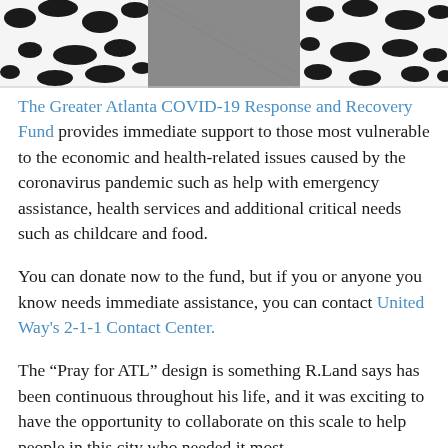[Figure (photo): Top portion of page showing a partial photo strip: left section with black-and-white cow-print pattern on white background, center section with a gray fabric/textile, right section with black-and-white cow-print pattern on white background.]
The Greater Atlanta COVID-19 Response and Recovery Fund provides immediate support to those most vulnerable to the economic and health-related issues caused by the coronavirus pandemic such as help with emergency assistance, health services and additional critical needs such as childcare and food.
You can donate now to the fund, but if you or anyone you know needs immediate assistance, you can contact United Way's 2-1-1 Contact Center.
The “Pray for ATL” design is something R.Land says has been continuous throughout his life, and it was exciting to have the opportunity to collaborate on this scale to help people in this city who needed it most.
“I want to see this max out and be the best it can be so